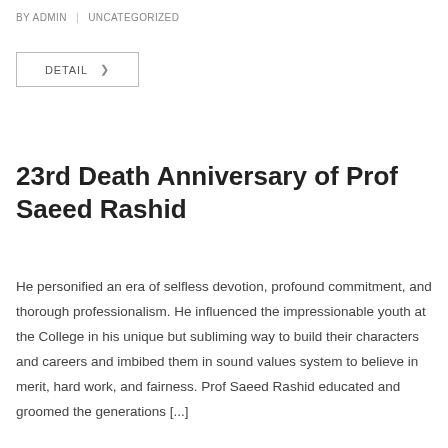BY ADMIN | UNCATEGORIZED
DETAIL >
23rd Death Anniversary of Prof Saeed Rashid
He personified an era of selfless devotion, profound commitment, and thorough professionalism. He influenced the impressionable youth at the College in his unique but subliming way to build their characters and careers and imbibed them in sound values system to believe in merit, hard work, and fairness. Prof Saeed Rashid educated and groomed the generations [...]